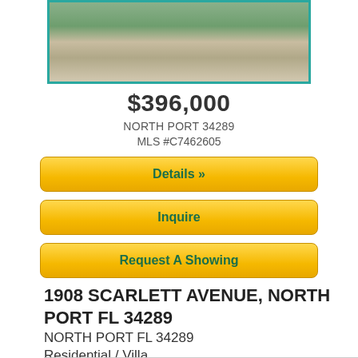[Figure (photo): Exterior photo of a residential villa with paved driveway and green landscaping]
$396,000
NORTH PORT 34289
MLS #C7462605
Details »
Inquire
Request A Showing
1908 SCARLETT AVENUE, NORTH PORT FL 34289
NORTH PORT FL 34289
Residential / Villa
2 Bed • 2 Bath • 1,448 SqFt • $273/SqFt